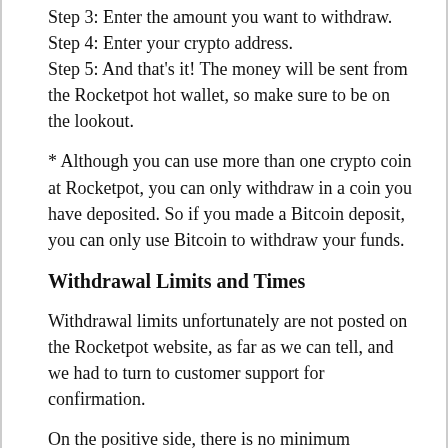Step 3: Enter the amount you want to withdraw.
Step 4: Enter your crypto address.
Step 5: And that’s it! The money will be sent from the Rocketpot hot wallet, so make sure to be on the lookout.
* Although you can use more than one crypto coin at Rocketpot, you can only withdraw in a coin you have deposited. So if you made a Bitcoin deposit, you can only use Bitcoin to withdraw your funds.
Withdrawal Limits and Times
Withdrawal limits unfortunately are not posted on the Rocketpot website, as far as we can tell, and we had to turn to customer support for confirmation.
On the positive side, there is no minimum withdrawal amount.
The maximum withdrawal limits are a bit trickier. As noted above, they are quoted in US dollars, being $10,000 for whichever cryptocurrency you are using. When we asked the agent why, he responded that ‘unfortunately
[Figure (illustration): Teal/green illustrated stack of dollar bills icon]